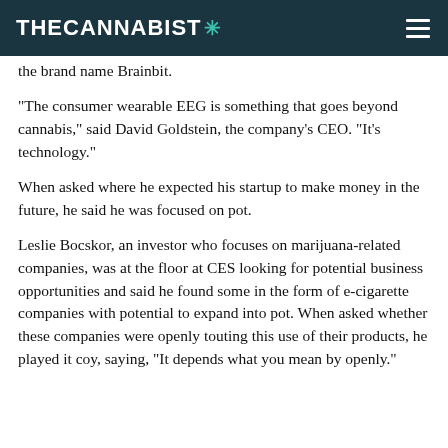THECANNABIST
the brand name Brainbit.
“The consumer wearable EEG is something that goes beyond cannabis,” said David Goldstein, the company’s CEO. “It’s technology.”
When asked where he expected his startup to make money in the future, he said he was focused on pot.
Leslie Bocskor, an investor who focuses on marijuana-related companies, was at the floor at CES looking for potential business opportunities and said he found some in the form of e-cigarette companies with potential to expand into pot. When asked whether these companies were openly touting this use of their products, he played it coy, saying, “It depends what you mean by openly.”